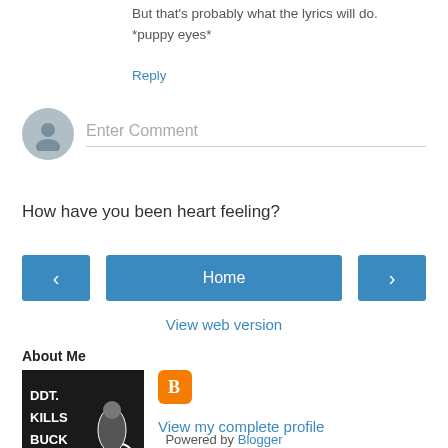But that's probably what the lyrics will do.
*puppy eyes*
Reply
[Figure (other): Comment input area with user avatar circle and 'Enter Comment' placeholder text]
How have you been heart feeling?
[Figure (other): Navigation buttons: left arrow, Home, right arrow]
View web version
About Me
[Figure (photo): Black and white image with text: DDT. KILLS BUCK - TICK with a figure illustration]
[Figure (logo): Blogger orange square icon with B logo]
View my complete profile
Powered by Blogger